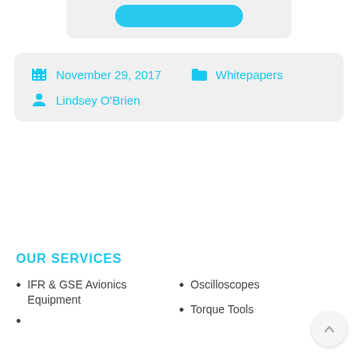[Figure (other): Partial view of a rounded card with a cyan/blue button at the top of the page, partially cropped]
November 29, 2017   Whitepapers   Lindsey O'Brien
OUR SERVICES
IFR & GSE Avionics Equipment
Oscilloscopes
Torque Tools